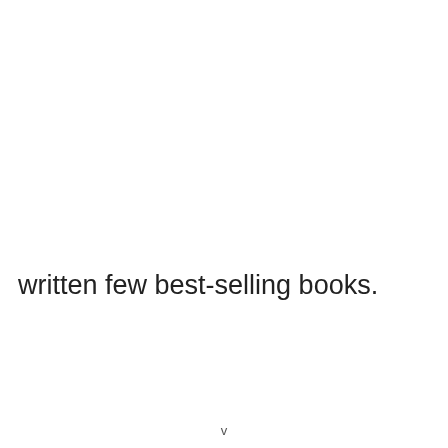written few best-selling books.
v